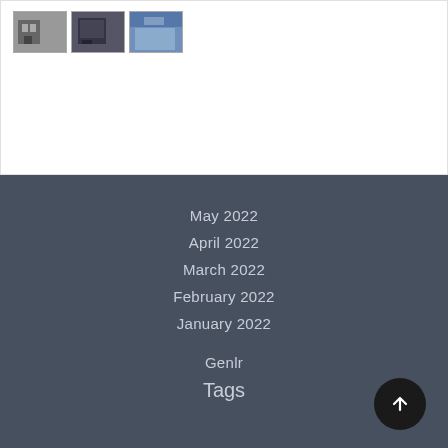[Figure (photo): Three small thumbnail images of what appear to be buildings/interiors, arranged horizontally near the top of the page]
May 2022
April 2022
March 2022
February 2022
January 2022
Genlr
Tags